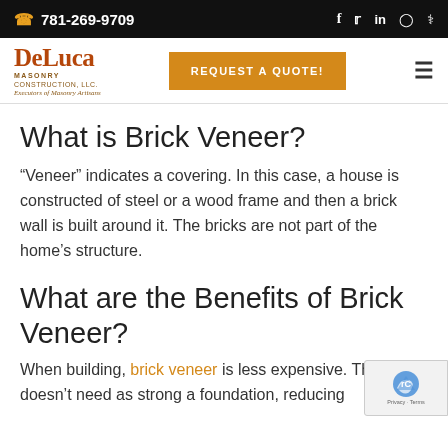781-269-9709
[Figure (logo): DeLuca Masonry Construction LLC logo with tagline 'Executors of Masonry Artisans' and REQUEST A QUOTE! button]
What is Brick Veneer?
“Veneer” indicates a covering. In this case, a house is constructed of steel or a wood frame and then a brick wall is built around it. The bricks are not part of the home’s structure.
What are the Benefits of Brick Veneer?
When building, brick veneer is less expensive. The house doesn’t need as strong a foundation, reducing